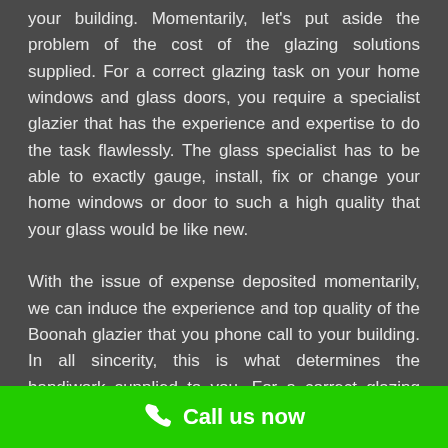your building. Momentarily, let's put aside the problem of the cost of the glazing solutions supplied. For a correct glazing task on your home windows and glass doors, you require a specialist glazier that has the experience and expertise to do the task flawlessly. The glass specialist has to be able to exactly gauge, install, fix or change your home windows or door to such a high quality that your glass would be like new.

With the issue of expense deposited momentarily, we can induce the experience and top quality of the Boonah glazier that you phone call to your building. In all sincerity, this is what determines the handiwork supplied to you. For a correct glazing task your...
Call us now